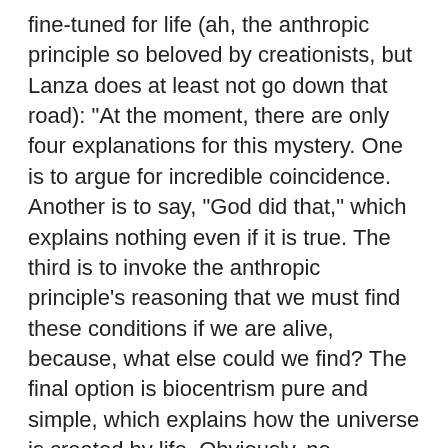fine-tuned for life (ah, the anthropic principle so beloved by creationists, but Lanza does at least not go down that road): "At the moment, there are only four explanations for this mystery. One is to argue for incredible coincidence. Another is to say, "God did that," which explains nothing even if it is true. The third is to invoke the anthropic principle's reasoning that we must find these conditions if we are alive, because, what else could we find? The final option is biocentrism pure and simple, which explains how the universe is created by life. Obviously, no universe that doesn't allow for life could possibly exist; the universe and its parameters simply reflect the spatio-temporal logic of animal existence." I hope anyone with a background in probability theory or critical thinking can spot the delightful plethora of fallacies invoked in that paragraph.
He also reacts to dismissals in a fairly typical crackpot manner.
Yup. Respectable scientist Lanza's alter ego is a mixture of Deepak Chopra and Denyse O'Leary (and Lawrence LeShan) – without the religious insanity, admittedly, but with